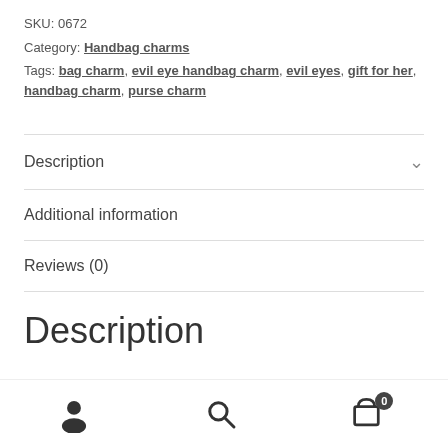SKU: 0672
Category: Handbag charms
Tags: bag charm, evil eye handbag charm, evil eyes, gift for her, handbag charm, purse charm
Description
Additional information
Reviews (0)
Description
User / Search / Cart (0)